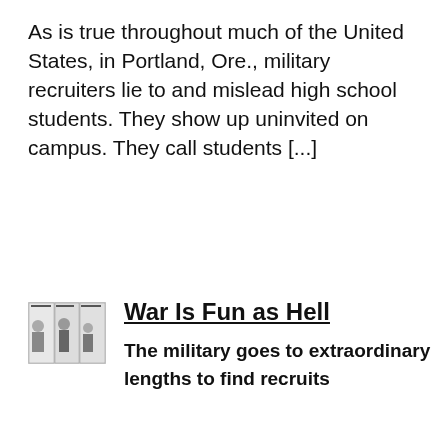As is true throughout much of the United States, in Portland, Ore., military recruiters lie to and mislead high school students. They show up uninvited on campus. They call students [...]
[Figure (thumbnail): Small newspaper comic strip thumbnail image]
War Is Fun as Hell
The military goes to extraordinary lengths to find recruits